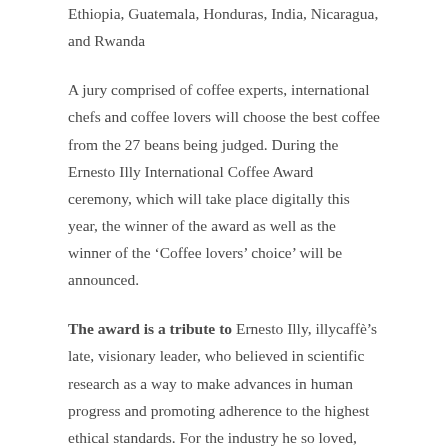Ethiopia, Guatemala, Honduras, India, Nicaragua, and Rwanda
A jury comprised of coffee experts, international chefs and coffee lovers will choose the best coffee from the 27 beans being judged. During the Ernesto Illy International Coffee Award ceremony, which will take place digitally this year, the winner of the award as well as the winner of the ‘Coffee lovers’ choice’ will be announced.
The award is a tribute to Ernesto Illy, illycaffè’s late, visionary leader, who believed in scientific research as a way to make advances in human progress and promoting adherence to the highest ethical standards. For the industry he so loved, science gave Dr. Illy the power to sustain and grow coffee culture